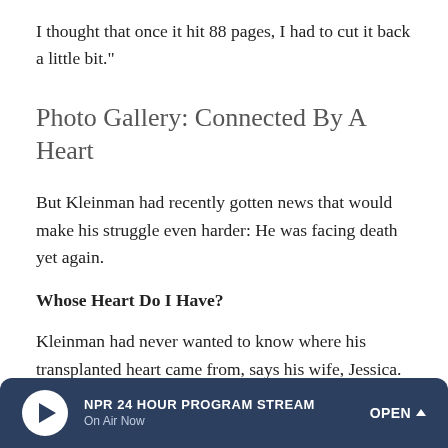I thought that once it hit 88 pages, I had to cut it back a little bit."
Photo Gallery: Connected By A Heart
But Kleinman had recently gotten news that would make his struggle even harder: He was facing death yet again.
Whose Heart Do I Have?
Kleinman had never wanted to know where his transplanted heart came from, says his wife, Jessica.
NPR 24 HOUR PROGRAM STREAM | On Air Now | OPEN